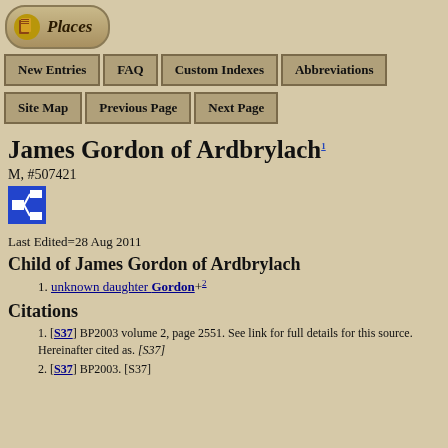[Figure (logo): Places navigation logo with scroll/book icon and rounded rectangle border]
New Entries | FAQ | Custom Indexes | Abbreviations | Site Map | Previous Page | Next Page
James Gordon of Ardbrylach¹
M, #507421
[Figure (other): Blue pedigree/family tree icon button]
Last Edited=28 Aug 2011
Child of James Gordon of Ardbrylach
1. unknown daughter Gordon+²
Citations
1. [S37] BP2003 volume 2, page 2551. See link for full details for this source. Hereinafter cited as. [S37]
2. [S37] BP2003. [S37]